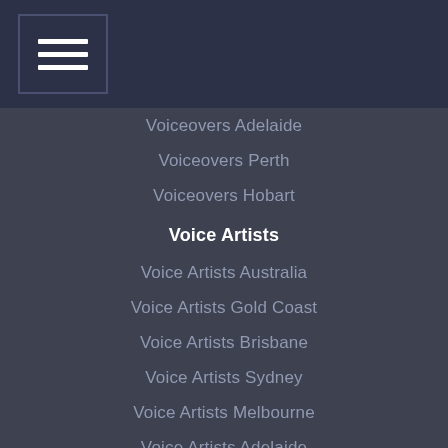☰
Voiceovers Adelaide
Voiceovers Perth
Voiceovers Hobart
Voice Artists
Voice Artists Australia
Voice Artists Gold Coast
Voice Artists Brisbane
Voice Artists Sydney
Voice Artists Melbourne
Voice Artists Adelaide
Voice Artists Perth
Voice Artists Hobart
Voice Talent
Voice Talent Australia
Voice Talent Gold Coast
Voice Talent Brisbane
Voice Talent Sydney